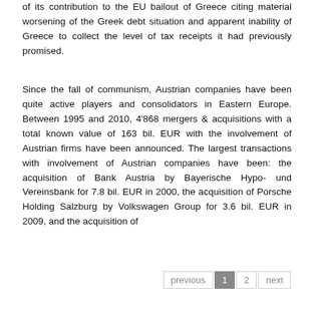of its contribution to the EU bailout of Greece citing material worsening of the Greek debt situation and apparent inability of Greece to collect the level of tax receipts it had previously promised.
Since the fall of communism, Austrian companies have been quite active players and consolidators in Eastern Europe. Between 1995 and 2010, 4'868 mergers & acquisitions with a total known value of 163 bil. EUR with the involvement of Austrian firms have been announced. The largest transactions with involvement of Austrian companies have been: the acquisition of Bank Austria by Bayerische Hypo- und Vereinsbank for 7.8 bil. EUR in 2000, the acquisition of Porsche Holding Salzburg by Volkswagen Group for 3.6 bil. EUR in 2009, and the acquisition of
previous 1 2 next